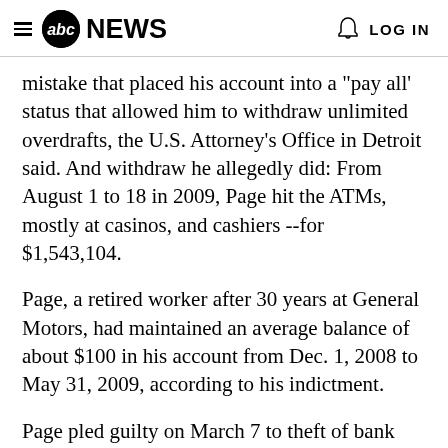abc NEWS  LOG IN
mistake that placed his account into a "pay all' status that allowed him to withdraw unlimited overdrafts, the U.S. Attorney's Office in Detroit said. And withdraw he allegedly did: From August 1 to 18 in 2009, Page hit the ATMs, mostly at casinos, and cashiers --for $1,543,104.
Page, a retired worker after 30 years at General Motors, had maintained an average balance of about $100 in his account from Dec. 1, 2008 to May 31, 2009, according to his indictment.
Page pled guilty on March 7 to theft of bank funds. His sentencing will take place on Jun…